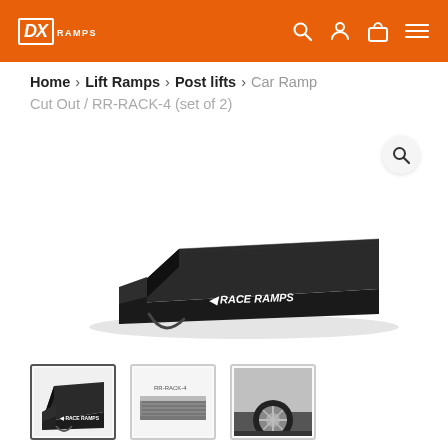DX RAMPS
Home > Lift Ramps > Post lifts > Car Ramp Cut Out / RR-RACK-4 (set of 2)
[Figure (photo): Black Race Ramps car ramp with cut out, shown at an angle with a carrying strap, branded with 'Race Ramps' logo on the front face]
[Figure (photo): Thumbnail 1: Front view of the black Race Ramps car ramp lying flat]
[Figure (photo): Thumbnail 2: Side/bottom view of the Race Ramps car ramp showing construction]
[Figure (photo): Thumbnail 3: Car tire/wheel resting on the ramp in use]